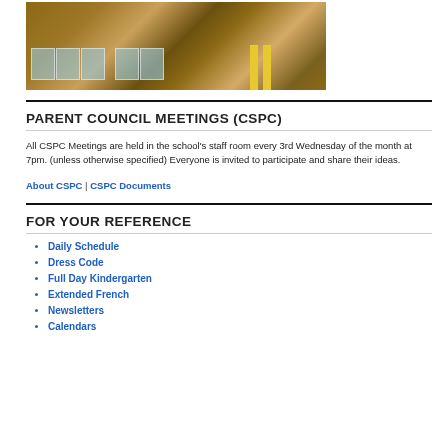[Figure (photo): Exterior photo of a school building with large windows, brick facade, and yellow bollards at entrance]
PARENT COUNCIL MEETINGS (CSPC)
All CSPC Meetings are held in the school's staff room every 3rd Wednesday of the month at 7pm. (unless otherwise specified) Everyone is invited to participate and share their ideas.
About CSPC | CSPC Documents
FOR YOUR REFERENCE
Daily Schedule
Dress Code
Full Day Kindergarten
Extended French
Newsletters
Calendars